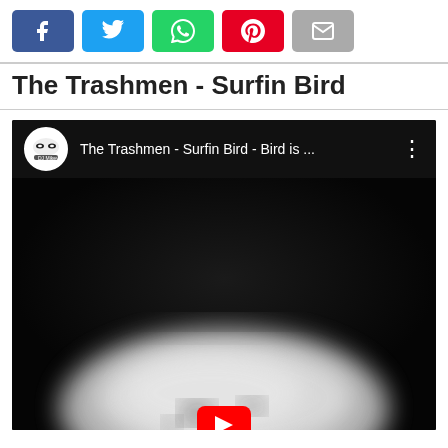[Figure (infographic): Social share buttons row: Facebook (blue), Twitter (light blue), WhatsApp (green), Pinterest (red), Email (gray)]
The Trashmen - Surfin Bird
[Figure (screenshot): Embedded YouTube video player screenshot showing 'The Trashmen - Surfin Bird - Bird is ...' with channel avatar for DJ MikeyMik, dark background, blurred white bird shape at bottom center, red YouTube play button at very bottom]